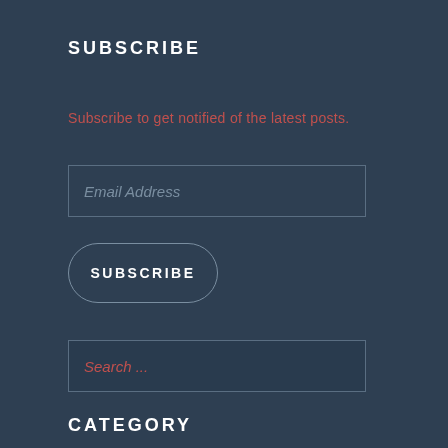SUBSCRIBE
Subscribe to get notified of the latest posts.
Email Address
SUBSCRIBE
Search ...
CATEGORY